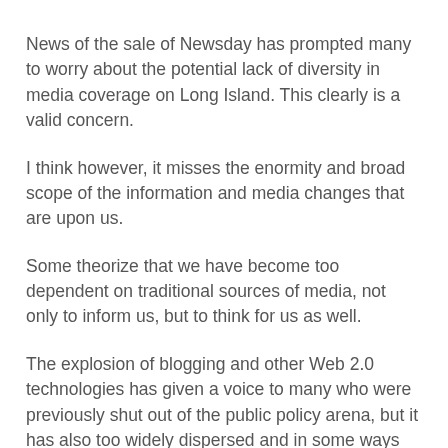News of the sale of Newsday has prompted many to worry about the potential lack of diversity in media coverage on Long Island. This clearly is a valid concern.
I think however, it misses the enormity and broad scope of the information and media changes that are upon us.
Some theorize that we have become too dependent on traditional sources of media, not only to inform us, but to think for us as well.
The explosion of blogging and other Web 2.0 technologies has given a voice to many who were previously shut out of the public policy arena, but it has also too widely dispersed and in some ways confused the general public even more. Additionally most blogging is "opinion based" and not subject to rigorous scrutiny, but so then is much of the "traditional" news we receive today.
Some have made good attempts to create like minded "blogospheres" and multimedia forums using Web 2.0. But